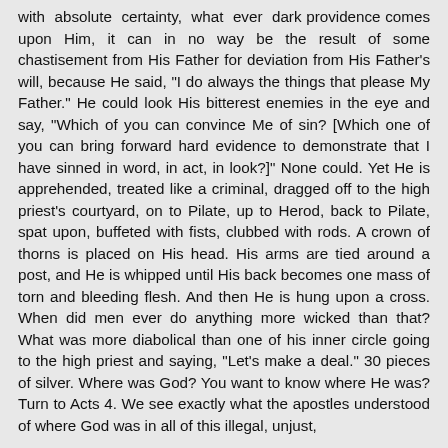with absolute certainty, what ever dark providence comes upon Him, it can in no way be the result of some chastisement from His Father for deviation from His Father's will, because He said, "I do always the things that please My Father." He could look His bitterest enemies in the eye and say, "Which of you can convince Me of sin? [Which one of you can bring forward hard evidence to demonstrate that I have sinned in word, in act, in look?]" None could. Yet He is apprehended, treated like a criminal, dragged off to the high priest's courtyard, on to Pilate, up to Herod, back to Pilate, spat upon, buffeted with fists, clubbed with rods. A crown of thorns is placed on His head. His arms are tied around a post, and He is whipped until His back becomes one mass of torn and bleeding flesh. And then He is hung upon a cross. When did men ever do anything more wicked than that? What was more diabolical than one of his inner circle going to the high priest and saying, "Let's make a deal." 30 pieces of silver. Where was God? You want to know where He was? Turn to Acts 4. We see exactly what the apostles understood of where God was in all of this illegal, unjust,